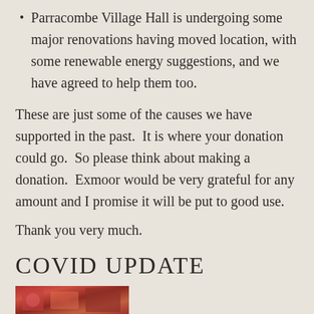Parracombe Village Hall is undergoing some major renovations having moved location, with some renewable energy suggestions, and we have agreed to help them too.
These are just some of the causes we have supported in the past.  It is where your donation could go.  So please think about making a donation.  Exmoor would be very grateful for any amount and I promise it will be put to good use.
Thank you very much.
COVID UPDATE
[Figure (photo): Partial photo strip at bottom of page, showing colorful image (partially visible)]